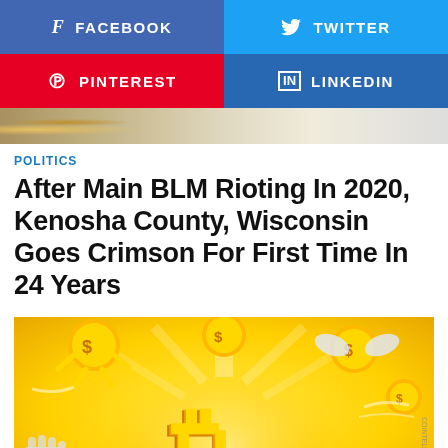[Figure (infographic): Social share buttons: Facebook (blue), Twitter (light blue), Pinterest (red), LinkedIn (blue)]
[Figure (photo): Partial banner image strip at top of article]
POLITICS
After Main BLM Rioting In 2020, Kenosha County, Wisconsin Goes Crimson For First Time In 24 Years
[Figure (illustration): Colorful cartoon illustration featuring a large golden Bitcoin symbol with animated coin characters flying around it on a bright yellow background, with 'COINTELEGRAPH' watermark on the right side]